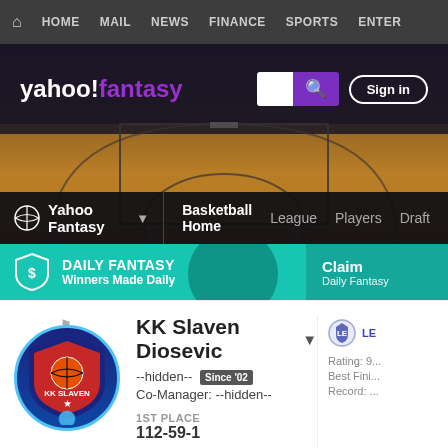HOME   MAIL   NEWS   FINANCE   SPORTS   ENTER
[Figure (screenshot): Yahoo Fantasy logo bar with search and sign in button over basketball court background]
[Figure (screenshot): Yahoo Fantasy sub-navigation with Basketball Home, League, Players, Draft links]
[Figure (screenshot): Daily Fantasy banner with shield icon, Winners Made Daily text, and Claim section]
[Figure (screenshot): KK Slaven Diosevic team logo circle in light blue]
KK Slaven Diosevic
--hidden--   Since '02
Co-Manager: --hidden--
1ST PLACE
112-59-1